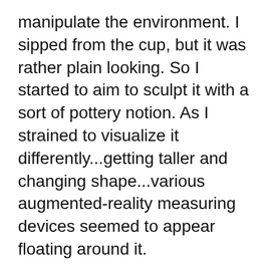manipulate the environment. I sipped from the cup, but it was rather plain looking. So I started to aim to sculpt it with a sort of pottery notion. As I strained to visualize it differently...getting taller and changing shape...various augmented-reality measuring devices seemed to appear floating around it.
My aims became more ambitious, I started sculpting it with my mind into a kind of goblet. It seemed to become solid enough to hold with each change. I modified it to have a sort of angel on it like a sculpture on the front of a boat, and then put wings on the back of it. Wanting the wings to be functional, I imagined them as some kind of better ones. Then I did this case and to